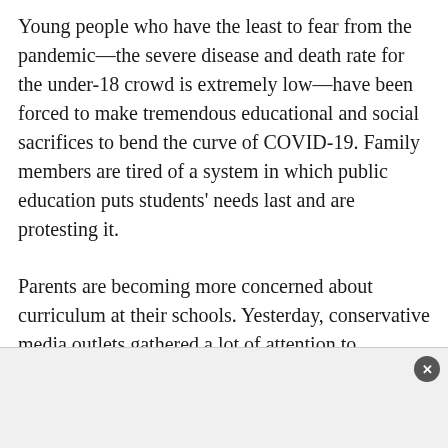Young people who have the least to fear from the pandemic—the severe disease and death rate for the under-18 crowd is extremely low—have been forced to make tremendous educational and social sacrifices to bend the curve of COVID-19. Family members are tired of a system in which public education puts students' needs last and are protesting it.
Parents are becoming more concerned about curriculum at their schools. Yesterday, conservative media outlets gathered a lot of attention to Garland's memo after it was published. shared on Twitter by Christopher RufoA senior fellow at The Manhattan Institute